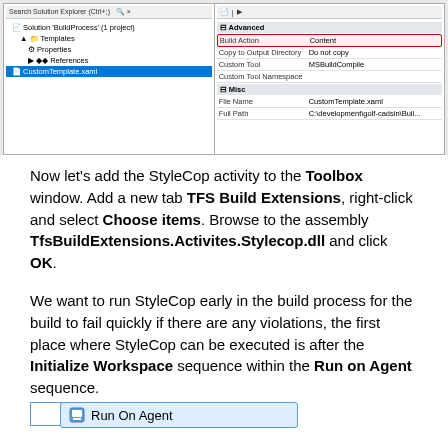[Figure (screenshot): Visual Studio IDE screenshot showing Solution Explorer with BuildProcess solution, Templates folder, CustomTemplate.xaml selected, and Properties panel showing Build Action set to Content with a red highlight box around it.]
Now let's add the StyleCop activity to the Toolbox window. Add a new tab TFS Build Extensions, right-click and select Choose items. Browse to the assembly TfsBuildExtensions.Activites.Stylecop.dll and click OK.
We want to run StyleCop early in the build process for the build to fail quickly if there are any violations, the first place where StyleCop can be executed is after the Initialize Workspace sequence within the Run on Agent sequence.
[Figure (screenshot): Run On Agent workflow box with blue border and light blue background, containing an empty inner white box below it.]